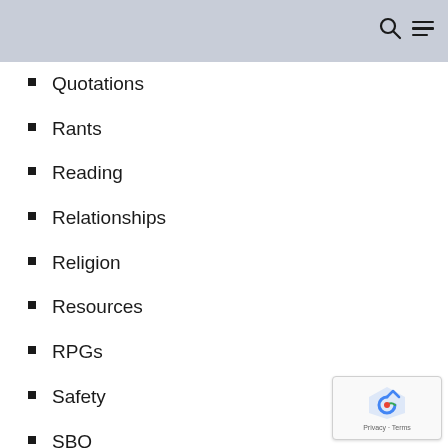Quotations
Rants
Reading
Relationships
Religion
Resources
RPGs
Safety
SBQ
Sciences
Sex
Size Acceptance
Sleep